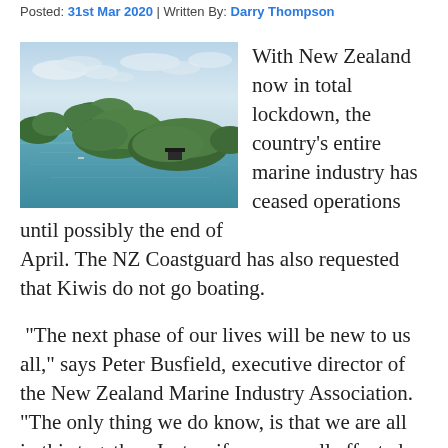Posted: 31st Mar 2020 | Written By: Darry Thompson
[Figure (photo): Aerial view of green islands surrounded by calm blue water under a partly cloudy sky, New Zealand coastal scenery]
With New Zealand now in total lockdown, the country's entire marine industry has ceased operations until possibly the end of April. The NZ Coastguard has also requested that Kiwis do not go boating.
“The next phase of our lives will be new to us all,” says Peter Busfield, executive director of the New Zealand Marine Industry Association. “The only thing we do know, is that we are all in this together. Just as if we were all affected by an earthquake or